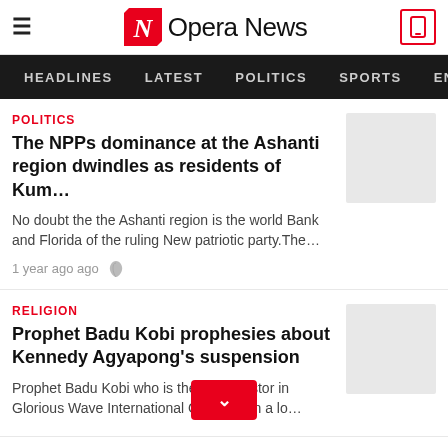Opera News
HEADLINES  LATEST  POLITICS  SPORTS  EN
POLITICS
The NPPs dominance at the Ashanti region dwindles as residents of Kum…
No doubt the the Ashanti region is the world Bank and Florida of the ruling New patriotic party.The…
1 year ago ago
RELIGION
Prophet Badu Kobi prophesies about Kennedy Agyapong's suspension
Prophet Badu Kobi who is the head pastor in Glorious Wave International Chu…given a lo…